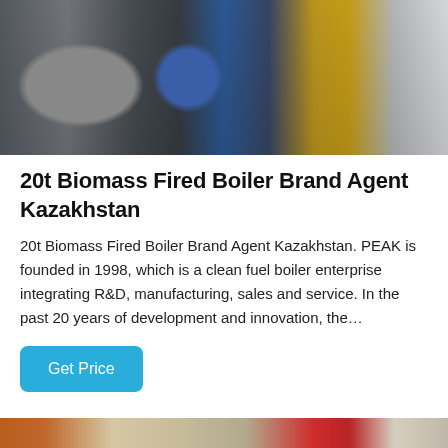[Figure (photo): Industrial boiler equipment in a factory setting: large horizontal cylindrical boiler with a blue burner unit attached, yellow gas pipes visible on the right side, metal support structure.]
20t Biomass Fired Boiler Brand Agent Kazakhstan
20t Biomass Fired Boiler Brand Agent Kazakhstan. PEAK is founded in 1998, which is a clean fuel boiler enterprise integrating R&D, manufacturing, sales and service. In the past 20 years of development and innovation, the…
[Figure (photo): Bottom portion of an industrial factory interior showing orange structural columns and red/orange piping systems on the ceiling and walls.]